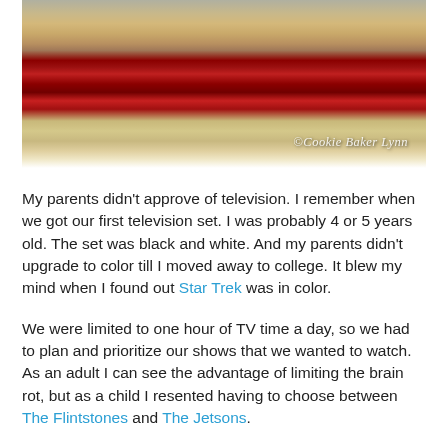[Figure (photo): Close-up photo of a pie with a crimped crust edge topped with red berry filling and a watermark reading '© Cookie Baker Lynn' in the lower right corner.]
My parents didn't approve of television. I remember when we got our first television set. I was probably 4 or 5 years old. The set was black and white. And my parents didn't upgrade to color till I moved away to college. It blew my mind when I found out Star Trek was in color.
We were limited to one hour of TV time a day, so we had to plan and prioritize our shows that we wanted to watch. As an adult I can see the advantage of limiting the brain rot, but as a child I resented having to choose between The Flintstones and The Jetsons.
One scene in The Jetsons has stayed in my mind. George Jetson goes out to walk the dog on the treadmill, the dog chases the cat, the treadmill goes haywire, and George is running for his life on the treadmill, getting sucked into it, and